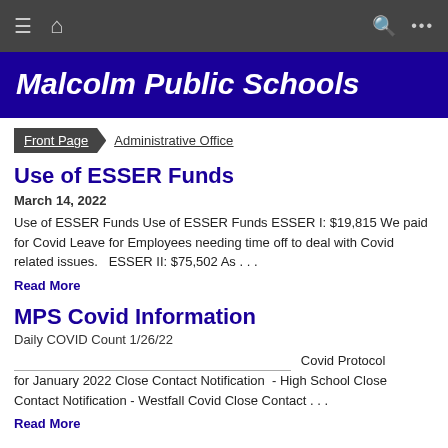Malcolm Public Schools — navigation bar with hamburger menu, home icon, search icon, and more options
Malcolm Public Schools
Front Page > Administrative Office
Use of ESSER Funds
March 14, 2022
Use of ESSER Funds Use of ESSER Funds ESSER I: $19,815 We paid for Covid Leave for Employees needing time off to deal with Covid related issues.   ESSER II: $75,502 As . . .
Read More
MPS Covid Information
Daily COVID Count 1/26/22
Covid Protocol for January 2022 Close Contact Notification  - High School Close Contact Notification - Westfall Covid Close Contact . . .
Read More